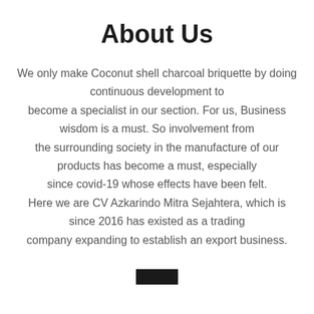About Us
We only make Coconut shell charcoal briquette by doing continuous development to become a specialist in our section. For us, Business wisdom is a must. So involvement from the surrounding society in the manufacture of our products has become a must, especially since covid-19 whose effects have been felt. Here we are CV Azkarindo Mitra Sejahtera, which is since 2016 has existed as a trading company expanding to establish an export business.
[Figure (other): Small black rectangle bar element at bottom center of page]